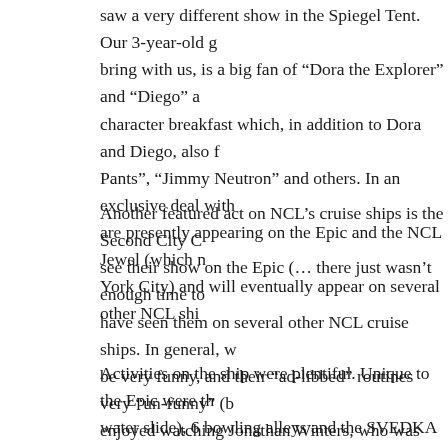saw a very different show in the Spiegel Tent. Our 3-year-old g bring with us, is a big fan of "Dora the Explorer" and "Diego" a character breakfast which, in addition to Dora and Diego, also f Pants", "Jimmy Neutron" and others. In an exclusive deal with are presently appearing on the Epic and the NCL Jewel (which n York City) and will eventually appear on several other NCL shi
Another featured act on NCL's cruise ships is the Second City C see their show on the Epic (… there just wasn't enough time to have seen them on several other NCL cruise ships. In general, w be very funny, and their "ad-libbed" routines very "un-funny" (b enjoyed watching Jonathan Winters, who was regarded by many genius).
Activities on the ship were plentiful. Unique to the Epic were th water slide), 6 bowling alleys and the SVEDKA Ice Bar (which sea) in which the entire contents (including the bar) are made of a "toasty" 17-degree temperature to keep it from melting. Now, provided with heavy jackets before entering and vodka is clearl